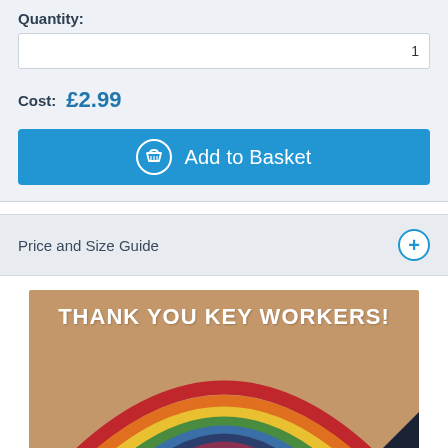Quantity:
1
Cost: £2.99
Add to Basket
Price and Size Guide
[Figure (illustration): A rainbow illustration on a kraft/brown background with the text THANK YOU KEY WORKERS! at the top, showing multiple coloured arcs (red, orange, yellow, green, blue, dark blue, purple/pink) forming a rainbow shape. A copyright badge appears in the bottom right corner.]